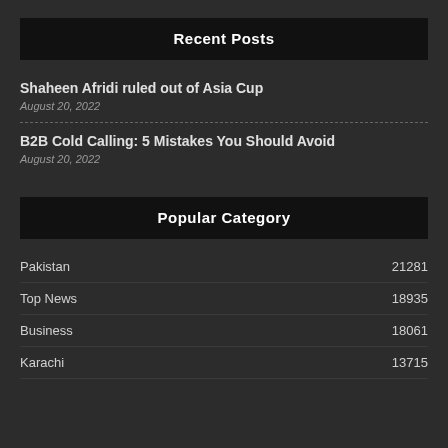Recent Posts
Shaheen Afridi ruled out of Asia Cup
August 20, 2022
B2B Cold Calling: 5 Mistakes You Should Avoid
August 20, 2022
Popular Category
Pakistan 21281
Top News 18935
Business 18061
Karachi 13715